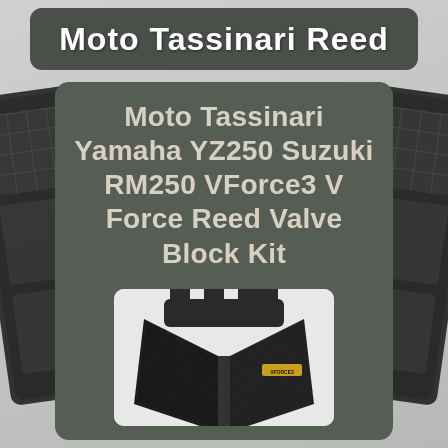Moto Tassinari Reed
Moto Tassinari Yamaha YZ250 Suzuki RM250 VForce3 V Force Reed Valve Block Kit
[Figure (photo): Photo of a black VForce3 reed valve block kit — a V-shaped automotive component with carbon fiber reed petals and gold VForce3 branding label, shown on a white background.]